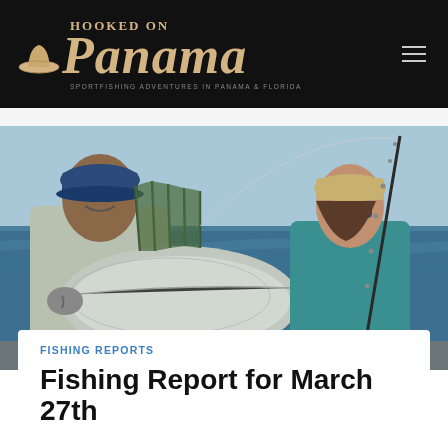HOOKED ON Panama — SPORTFISHING ADVENTURES IN PANAMA & FLORIDA
[Figure (photo): Two people on a fishing boat holding a large roosterfish. Man on left wearing a blue cap, woman on right in teal long-sleeve shirt holding a fishing rod. Ocean in background.]
FISHING REPORTS
Fishing Report for March 27th